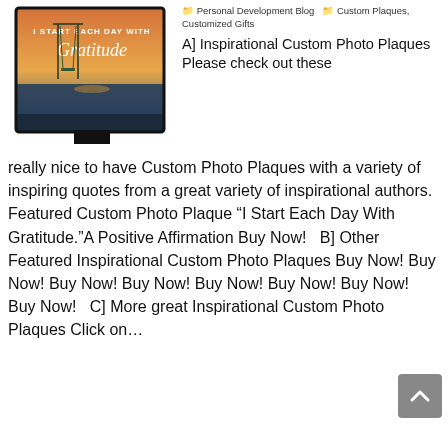[Figure (photo): A decorative desk plaque with an inspirational quote 'I Start Each Day With Gratitude' featuring a sunset/ocean background with a swing set silhouette.]
Personal Development Blog  Custom Plaques, Customized Gifts
A] Inspirational Custom Photo Plaques Please check out these
really nice to have Custom Photo Plaques with a variety of inspiring quotes from a great variety of inspirational authors. Featured Custom Photo Plaque “I Start Each Day With Gratitude.”A Positive Affirmation Buy Now!   B] Other Featured Inspirational Custom Photo Plaques Buy Now! Buy Now! Buy Now! Buy Now! Buy Now! Buy Now! Buy Now! Buy Now!   C] More great Inspirational Custom Photo Plaques Click on…